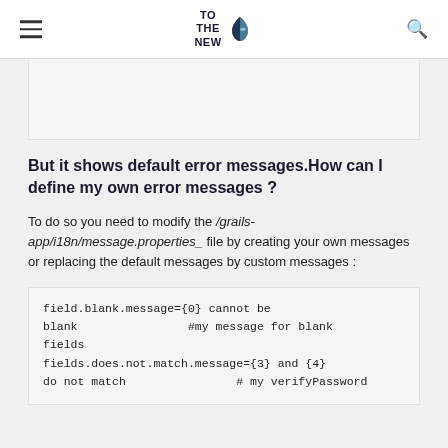TO THE NEW (logo)
[Figure (other): Gray placeholder image block]
But it shows default error messages.How can I define my own error messages ?
To do so you need to modify the /grails-app/i18n/message.properties_ file by creating your own messages or replacing the default messages by custom messages :
field.blank.message={0} cannot be blank                #my message for blank fields
fields.does.not.match.message={3} and {4} do not match                # my verifyPassword